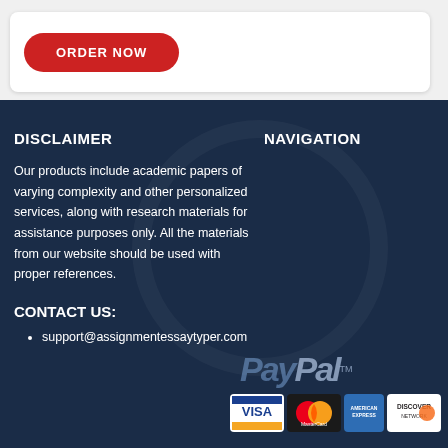[Figure (other): Red ORDER NOW button on white card background]
DISCLAIMER
Our products include academic papers of varying complexity and other personalized services, along with research materials for assistance purposes only. All the materials from our website should be used with proper references.
NAVIGATION
CONTACT US:
support@assignmentessaytyper.com
[Figure (logo): PayPal logo and credit card logos: Visa, MasterCard, American Express, Discover]